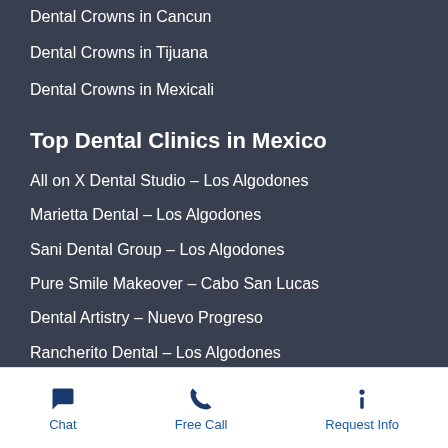Dental Crowns in Cancun
Dental Crowns in Tijuana
Dental Crowns in Mexicali
Top Dental Clinics in Mexico
All on X Dental Studio – Los Algodones
Marietta Dental – Los Algodones
Sani Dental Group – Los Algodones
Pure Smile Makeover – Cabo San Lucas
Dental Artistry – Nuevo Progreso
Rancherito Dental – Los Algodones
Liberty Dental Clinic – Tijuana
Chat   Free Call   Request Info